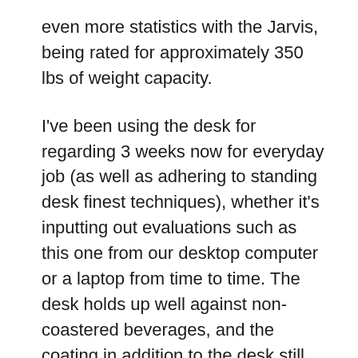even more statistics with the Jarvis, being rated for approximately 350 lbs of weight capacity.
I've been using the desk for regarding 3 weeks now for everyday job (as well as adhering to standing desk finest techniques), whether it's inputting out evaluations such as this one from our desktop computer or a laptop from time to time. The desk holds up well against non-coastered beverages, and the coating in addition to the desk still feels just as smooth and also glossy as the day I opened it despite days of perspiring wrists wresting on it as well as numerous wipe downs with a cloth.
Though I never ever deliberately attempt to